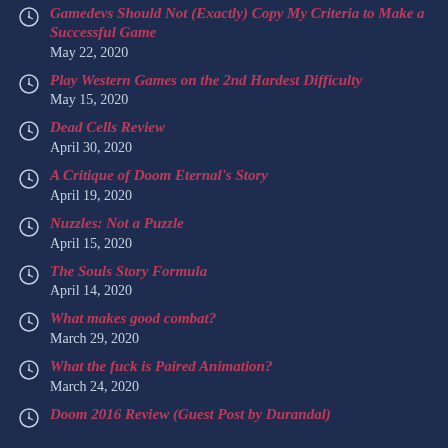Gamedevs Should Not (Exactly) Copy My Criteria to Make a Successful Game
May 22, 2020
Play Western Games on the 2nd Hardest Difficulty
May 15, 2020
Dead Cells Review
April 30, 2020
A Critique of Doom Eternal's Story
April 19, 2020
Nuzzles: Not a Puzzle
April 15, 2020
The Souls Story Formula
April 14, 2020
What makes good combat?
March 29, 2020
What the fuck is Paired Animation?
March 24, 2020
Doom 2016 Review (Guest Post by Durandal)